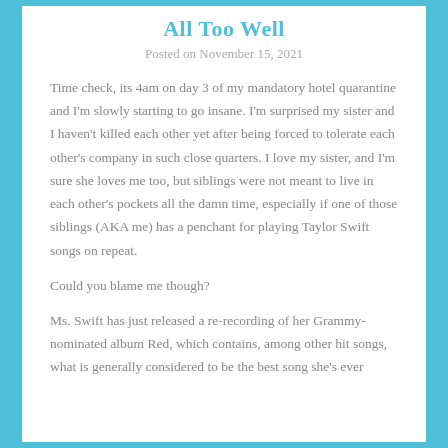All Too Well
Posted on November 15, 2021
Time check, its 4am on day 3 of my mandatory hotel quarantine and I'm slowly starting to go insane. I'm surprised my sister and I haven't killed each other yet after being forced to tolerate each other's company in such close quarters. I love my sister, and I'm sure she loves me too, but siblings were not meant to live in each other's pockets all the damn time, especially if one of those siblings (AKA me) has a penchant for playing Taylor Swift songs on repeat.
Could you blame me though?
Ms. Swift has just released a re-recording of her Grammy-nominated album Red, which contains, among other hit songs, what is generally considered to be the best song she's ever